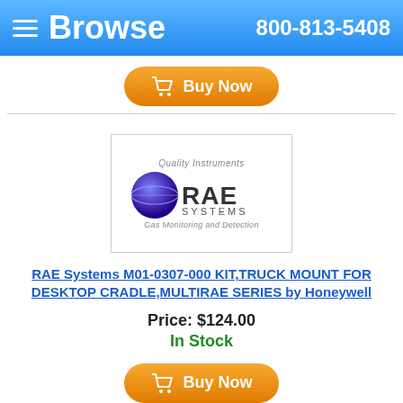Browse  800-813-5408
[Figure (other): Buy Now button (orange rounded rectangle with shopping cart icon)]
[Figure (logo): RAE Systems logo — Quality Instruments, Gas Monitoring and Detection]
RAE Systems M01-0307-000 KIT,TRUCK MOUNT FOR DESKTOP CRADLE,MULTIRAE SERIES by Honeywell
Price: $124.00
In Stock
[Figure (other): Buy Now button (orange rounded rectangle with shopping cart icon)]
[Figure (photo): Product photo of a blue/dark device with attached hose or probe]